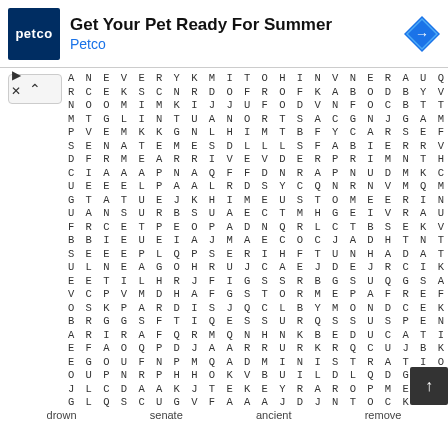[Figure (logo): Petco advertisement banner with Petco logo (blue square with white text 'petco'), headline 'Get Your Pet Ready For Summer', subtext 'Petco' in blue, and a blue diamond arrow icon]
[Figure (other): Word search puzzle grid with 25 rows of letters, approximately 20 columns wide. Navigation chevron button on left side. Scroll-to-top button on right side. Word list at bottom showing: drown, senate, ancient, remove]
drown
senate
ancient
remove